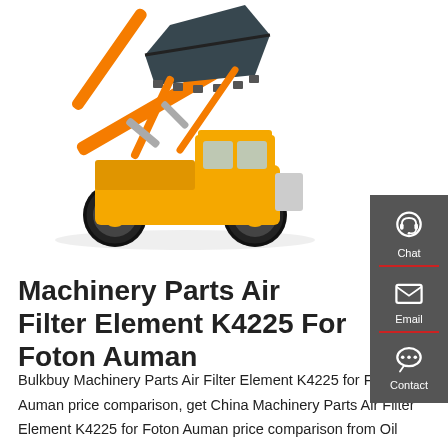[Figure (photo): Yellow front loader / wheel loader construction machine with raised bucket arm against white background]
[Figure (infographic): Dark gray sidebar with three contact options: Chat (headset icon), Email (envelope icon), Contact (speech bubble icon), separated by red horizontal dividers]
Machinery Parts Air Filter Element K4225 For Foton Auman
Bulkbuy Machinery Parts Air Filter Element K4225 for Foton Auman price comparison, get China Machinery Parts Air Filter Element K4225 for Foton Auman price comparison from Oil